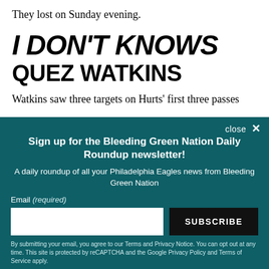They lost on Sunday evening.
I DON'T KNOWS
QUEZ WATKINS
Watkins saw three targets on Hurts' first three passes
close ×
Sign up for the Bleeding Green Nation Daily Roundup newsletter!
A daily roundup of all your Philadelphia Eagles news from Bleeding Green Nation
Email (required)
SUBSCRIBE
By submitting your email, you agree to our Terms and Privacy Notice. You can opt out at any time. This site is protected by reCAPTCHA and the Google Privacy Policy and Terms of Service apply.